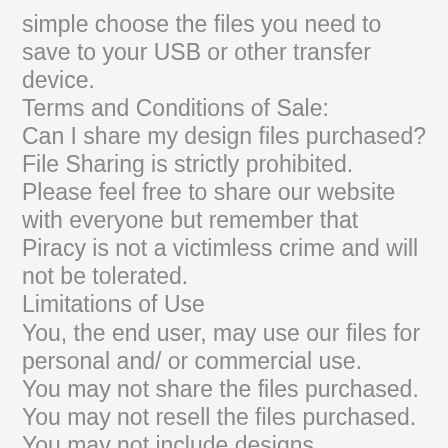simple choose the files you need to save to your USB or other transfer device.
Terms and Conditions of Sale:
Can I share my design files purchased?
File Sharing is strictly prohibited. Please feel free to share our website with everyone but remember that Piracy is not a victimless crime and will not be tolerated.
Limitations of Use
You, the end user, may use our files for personal and/ or commercial use.
You may not share the files purchased.
You may not resell the files purchased.
You may not include designs purchased in the event that you sell your business/ embroidery machine.
Our designs are copyrighted and may not be altered in any way for use or profit.